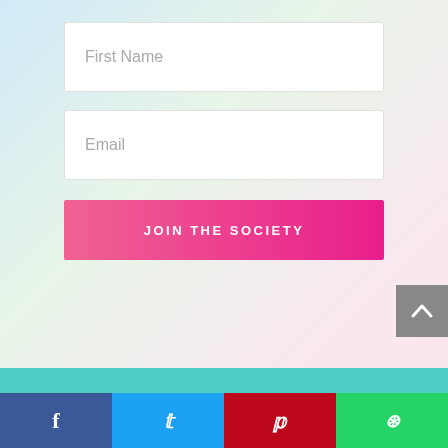[Figure (screenshot): Web form UI with pastel blurred background, two input fields (First Name, Email), a pink gradient JOIN THE SOCIETY button, a grey scroll-to-top arrow button, a teal band, and a social sharing bar with Facebook, Twitter, Pinterest, and WhatsApp icons.]
First Name
Email
JOIN THE SOCIETY